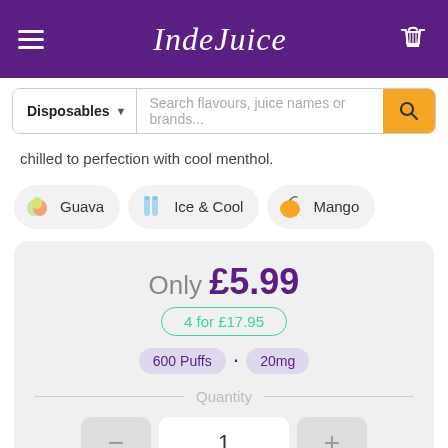IndeJuice
Search flavours, juice names or brands...
chilled to perfection with cool menthol.
Guava
Ice & Cool
Mango
Only £5.99
4 for £17.95
600 Puffs · 20mg
Quantity
1